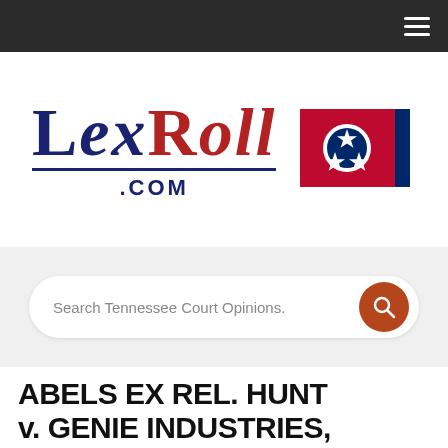Navigation bar with hamburger menu
[Figure (logo): LexRoll.com logo with Tennessee state flag. 'LEX' in dark navy blue serif font, 'ROLL' in dark red serif font, underlined, with '.COM' below in navy blue. To the right is the Tennessee state flag: red background with blue-edged white circle containing three white stars arranged in a triangle.]
Search Tennessee Court Opinions.
ABELS EX REL. HUNT v. GENIE INDUSTRIES, 202 S.W.3d 99 (Tenn. 2006)